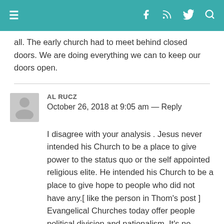≡  f  feed  twitter  search
all. The early church had to meet behind closed doors. We are doing everything we can to keep our doors open.
AL RUCZ
October 26, 2018 at 9:05 am — Reply
I disagree with your analysis . Jesus never intended his Church to be a place to give power to the status quo or the self appointed religious elite. He intended his Church to be a place to give hope to people who did not have any.[ like the person in Thom's post ] Evangelical Churches today offer people political division and nationalism. It's no surprise worldly behavior like violence is